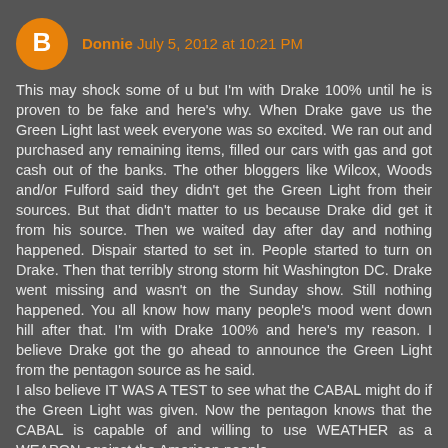Donnie  July 5, 2012 at 10:21 PM
This may shock some of u but I'm with Drake 100% until he is proven to be fake and here's why. When Drake gave us the Green Light last week everyone was so excited. We ran out and purchased any remaining items, filled our cars with gas and got cash out of the banks. The other bloggers like Wilcox, Woods and/or Fulford said they didn't get the Green Light from their sources. But that didn't matter to us because Drake did get it from his source. Then we waited day after day and nothing happened. Dispair started to set in. People started to turn on Drake. Then that terribly strong storm hit Washington DC. Drake went missing and wasn't on the Sunday show. Still nothing happened. You all know how many people's mood went down hill after that. I'm with Drake 100% and here's my reason. I believe Drake got the go ahead to announce the Green Light from the pentagon source as he said.
I also believe IT WAS A TEST to see what the CABAL might do if the Green Light was given. Now the pentagon knows that the CABAL is capable of and willing to use WEATHER as a WEAPON against the American people.